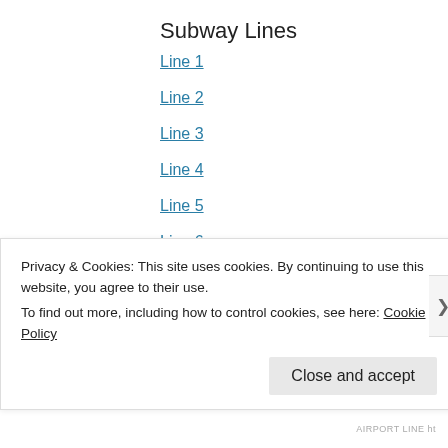Subway Lines
Line 1
Line 2
Line 3
Line 4
Line 5
Line 6
Line 7
Line 9
AREX
Bundang Line
Privacy & Cookies: This site uses cookies. By continuing to use this website, you agree to their use.
To find out more, including how to control cookies, see here: Cookie Policy
Close and accept